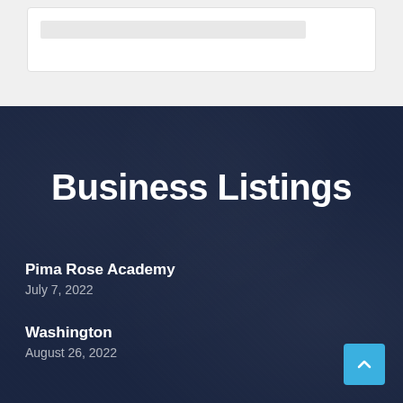[Figure (screenshot): Top portion of a webpage showing a white card with a gray bar on a light gray background]
Business Listings
Pima Rose Academy
July 7, 2022
Washington
August 26, 2022